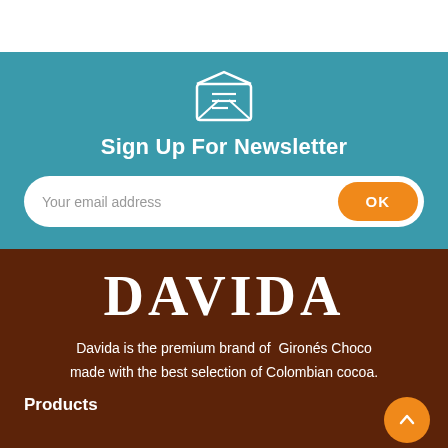[Figure (illustration): Envelope icon (open envelope with letter/lines) in white outline on teal background]
Sign Up For Newsletter
Your email address
OK
DAVIDA
Davida is the premium brand of  Gironés Choco made with the best selection of Colombian cocoa.
Products